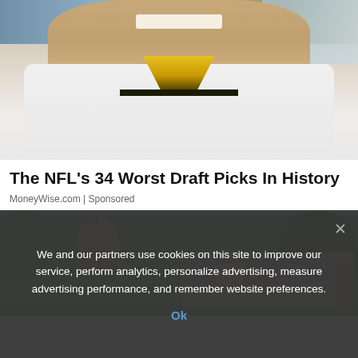[Figure (photo): Close-up photo of an NFL football player wearing a white jersey with yellow/black collar, smiling, with crowd in background]
The NFL's 34 Worst Draft Picks In History
MoneyWise.com | Sponsored
[Figure (photo): Outdoor garden patio scene with hanging wicker chair, lush green trees, and a beige sofa with pillows on a lawn]
We and our partners use cookies on this site to improve our service, perform analytics, personalize advertising, measure advertising performance, and remember website preferences.
Ok